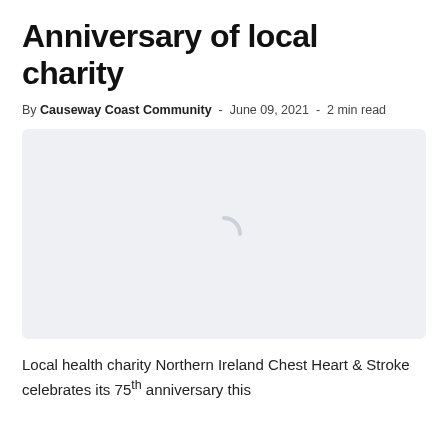Anniversary of local charity
By Causeway Coast Community - June 09, 2021 - 2 min read
[Figure (photo): Placeholder image with loading spinner icon, light grey background]
Local health charity Northern Ireland Chest Heart & Stroke celebrates its 75th anniversary this